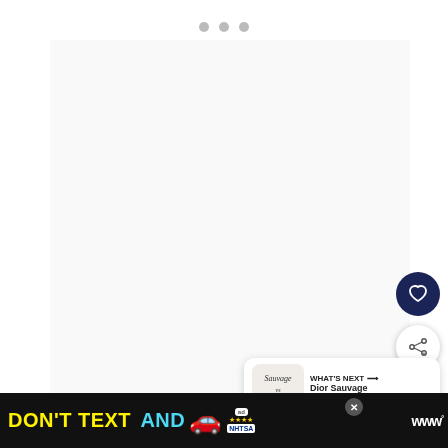[Figure (other): Slideshow pagination dots — three grey circles indicating slide position]
[Figure (other): Large empty white/light-grey slide content area]
[Figure (other): Dark navy circular heart/favourite button]
[Figure (other): White circular share button with share icon]
[Figure (other): What's Next card thumbnail showing 'Sauvage vs 1865?' label]
WHAT'S NEXT → Dior Sauvage Vs Eau...
1. Budget
[Figure (other): DON'T TEXT AND [car emoji] advertisement banner with NHTSA branding and ad close button]
Bu... ...en!